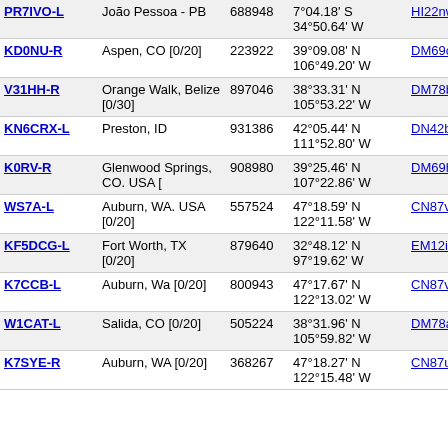| Callsign | Location | Node ID | Coordinates | Grid | Freq |
| --- | --- | --- | --- | --- | --- |
| PR7IVO-L | João Pessoa - PB | 688948 | 7°04.18' S
34°50.64' W | HI22nw | 4619. |
| KD0NU-R | Aspen, CO [0/20] | 223922 | 39°09.08' N
106°49.20' W | DM69od | 4620. |
| V31HH-R | Orange Walk, Belize [0/30] | 897046 | 38°33.31' N
105°53.22' W | DM78bn | 4620. |
| KN6CRX-L | Preston, ID | 931386 | 42°05.44' N
111°52.80' W | DN42bc | 4622. |
| K0RV-R | Glenwood Springs, CO. USA [ | 908980 | 39°25.46' N
107°22.86' W | DM69hk | 4623. |
| WS7A-L | Auburn, WA. USA [0/20] | 557524 | 47°18.59' N
122°11.58' W | CN87vh | 4623. |
| KF5DCG-L | Fort Worth, TX [0/20] | 879640 | 32°48.12' N
97°19.62' W | EM12it | 4624. |
| K7CCB-L | Auburn, Wa [0/20] | 800943 | 47°17.67' N
122°13.02' W | CN87vh | 4625. |
| W1CAT-L | Salida, CO [0/20] | 505224 | 38°31.96' N
105°59.82' W | DM78am | 4625. |
| K7SYE-R | Auburn, WA [0/20] | 368267 | 47°18.27' N
122°15.48' W | CN87uh | 4625. |